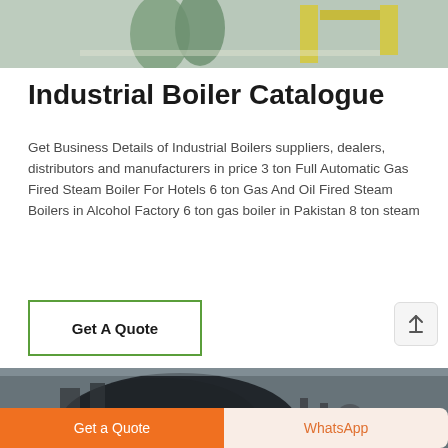[Figure (photo): Top photo showing industrial boiler equipment and machinery in a factory setting with green cylinders and yellow equipment]
Industrial Boiler Catalogue
Get Business Details of Industrial Boilers suppliers, dealers, distributors and manufacturers in price 3 ton Full Automatic Gas Fired Steam Boiler For Hotels 6 ton Gas And Oil Fired Steam Boilers in Alcohol Factory 6 ton gas boiler in Pakistan 8 ton steam
[Figure (other): Get A Quote button with green border]
[Figure (photo): Bottom photo showing industrial boiler equipment, large dark blue cylindrical boiler with pipes and gauges in a facility]
Get a Quote
WhatsApp